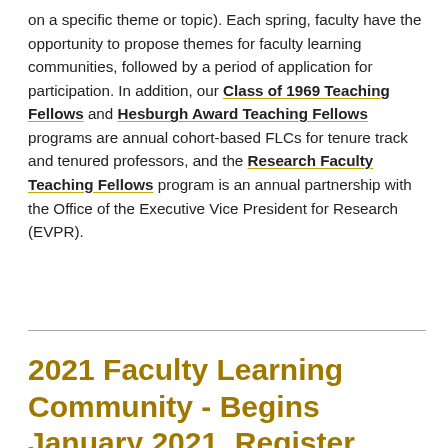on a specific theme or topic). Each spring, faculty have the opportunity to propose themes for faculty learning communities, followed by a period of application for participation. In addition, our Class of 1969 Teaching Fellows and Hesburgh Award Teaching Fellows programs are annual cohort-based FLCs for tenure track and tenured professors, and the Research Faculty Teaching Fellows program is an annual partnership with the Office of the Executive Vice President for Research (EVPR).
2021 Faculty Learning Community - Begins January 2021, Register Now!